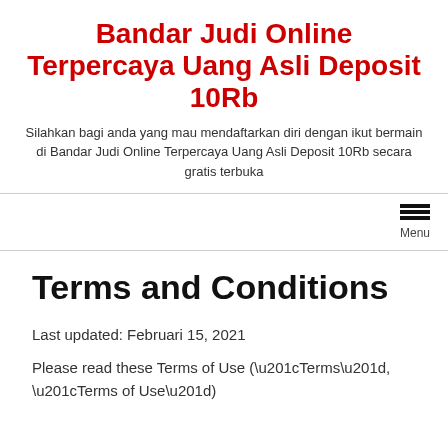Bandar Judi Online Terpercaya Uang Asli Deposit 10Rb
Silahkan bagi anda yang mau mendaftarkan diri dengan ikut bermain di Bandar Judi Online Terpercaya Uang Asli Deposit 10Rb secara gratis terbuka
[Figure (other): Hamburger menu icon with three horizontal lines and Menu label]
Terms and Conditions
Last updated: Februari 15, 2021
Please read these Terms of Use (“Terms”, “Terms of Use”)